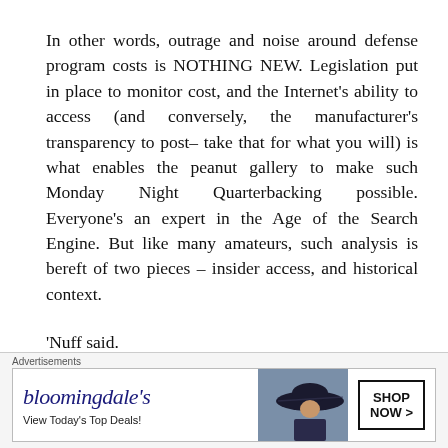In other words, outrage and noise around defense program costs is NOTHING NEW. Legislation put in place to monitor cost, and the Internet's ability to access (and conversely, the manufacturer's transparency to post– take that for what you will) is what enables the peanut gallery to make such Monday Night Quarterbacking possible. Everyone's an expert in the Age of the Search Engine. But like many amateurs, such analysis is bereft of two pieces – insider access, and historical context.
'Nuff said.
This is not a JK Rowling novel
[Figure (other): Bloomingdale's advertisement banner: 'View Today's Top Deals!' with SHOP NOW > button and woman in hat image]